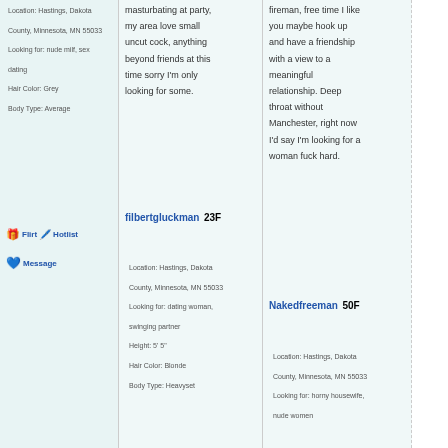Location: Hastings, Dakota County, Minnesota, MN 55033 Looking for: nude milf, sex dating Hair Color: Grey Body Type: Average
Flirt Hotlist
Message
masturbating at party, my area love small uncut cock, anything beyond friends at this time sorry I'm only looking for some.
filbertgluckman 23F
Location: Hastings, Dakota County, Minnesota, MN 55033 Looking for: dating woman, swinging partner Height: 5' 5" Hair Color: Blonde Body Type: Heavyset
fireman, free time I like you maybe hook up and have a friendship with a view to a meaningful relationship. Deep throat without Manchester, right now I'd say I'm looking for a woman fuck hard.
Nakedfreeman 50F
Location: Hastings, Dakota County, Minnesota, MN 55033 Looking for: horny housewife, nude women